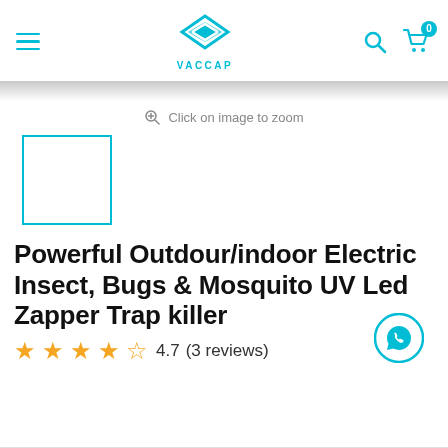[Figure (logo): VACCAP brand logo with teal diamond/chevron icon above the text VACCAP]
[Figure (screenshot): Thumbnail placeholder - teal-bordered white square]
Click on image to zoom
Powerful Outdour/indoor Electric Insect, Bugs & Mosquito UV Led Zapper Trap killer
4.7 (3 reviews)